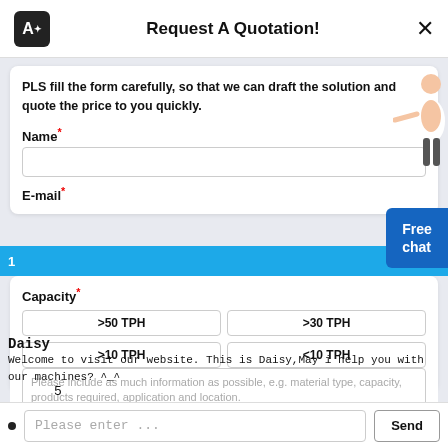Request A Quotation!
PLS fill the form carefully, so that we can draft the solution and quote the price to you quickly.
Name*
E-mail*
Capacity*
>50 TPH
>30 TPH
>10 TPH
<10 TPH
Message*
Please include as much information as possible, e.g. material type, capacity, products required, application and location.
Daisy
Welcome to visit our website. This is Daisy,May i help you with our machines? ^_^
Please enter ...
Send
Free chat
5
1